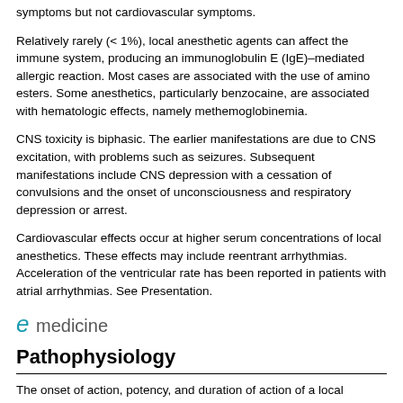symptoms but not cardiovascular symptoms.
Relatively rarely (< 1%), local anesthetic agents can affect the immune system, producing an immunoglobulin E (IgE)–mediated allergic reaction. Most cases are associated with the use of amino esters. Some anesthetics, particularly benzocaine, are associated with hematologic effects, namely methemoglobinemia.
CNS toxicity is biphasic. The earlier manifestations are due to CNS excitation, with problems such as seizures. Subsequent manifestations include CNS depression with a cessation of convulsions and the onset of unconsciousness and respiratory depression or arrest.
Cardiovascular effects occur at higher serum concentrations of local anesthetics. These effects may include reentrant arrhythmias. Acceleration of the ventricular rate has been reported in patients with atrial arrhythmias. See Presentation.
[Figure (logo): eMedicine logo with stylized e in teal/blue and 'medicine' in gray text]
Pathophysiology
The onset of action, potency, and duration of action of a local anesthetic are determined by the agent's pKa, lipid solubility, protein binding, and vasodilatory effects, along with tissue pH. Increasing the dose by administering a high concentration shortens onset while increasing duration of action, as well as increasing the possibility for adverse/toxic reactions.